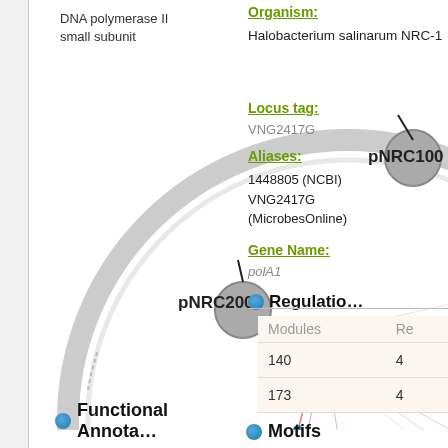DNA polymerase II small subunit
[Figure (network-graph): Circular genome diagram showing pNRC100 and pNRC200 plasmid nodes with red lines/arcs connecting gene loci to a regulatory target, with blue dots marking positions on the ring.]
Organism:
Halobacterium salinarum NRC-1
Locus tag:
VNG2417G
Aliases:
1448805 (NCBI) VNG2417G (MicrobesOnline)
Gene Name:
polA1
Regulation
| Modules | Re |
| --- | --- |
| 140 | 4 |
| 173 | 4 |
Functional Annotation
Motifs